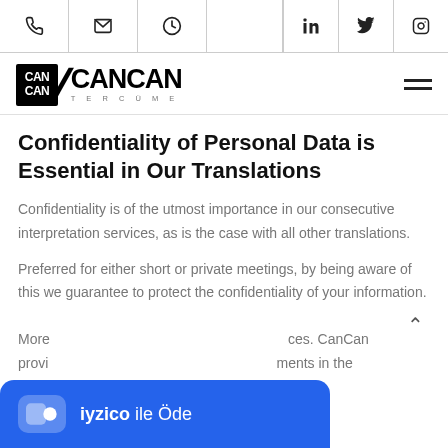Navigation bar with phone, mail, clock icons and LinkedIn, Twitter, Instagram icons
[Figure (logo): CanCan Tercume company logo with black box icon and CANCAN text]
Confidentiality of Personal Data is Essential in Our Translations
Confidentiality is of the utmost importance in our consecutive interpretation services, as is the case with all other translations.
Preferred for either short or private meetings, by being aware of this we guarantee to protect the confidentiality of your information.
More ... ces. CanCan provi ... ments in the
[Figure (other): iyzico ile Öde payment button popup overlay]